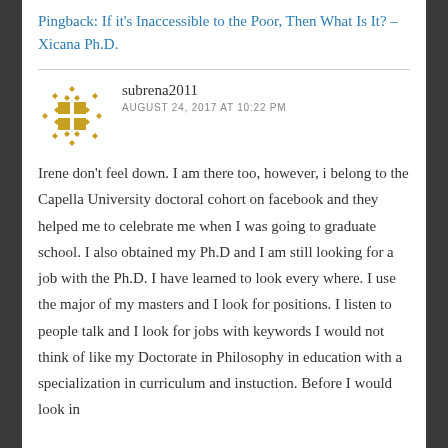Pingback: If it's Inaccessible to the Poor, Then What Is It? – Xicana Ph.D.
subrena2011
AUGUST 24, 2017 AT 10:22 PM
Irene don't feel down. I am there too, however, i belong to the Capella University doctoral cohort on facebook and they helped me to celebrate me when I was going to graduate school. I also obtained my Ph.D and I am still looking for a job with the Ph.D. I have learned to look every where. I use the major of my masters and I look for positions. I listen to people talk and I look for jobs with keywords I would not think of like my Doctorate in Philosophy in education with a specialization in curriculum and instuction. Before I would look in